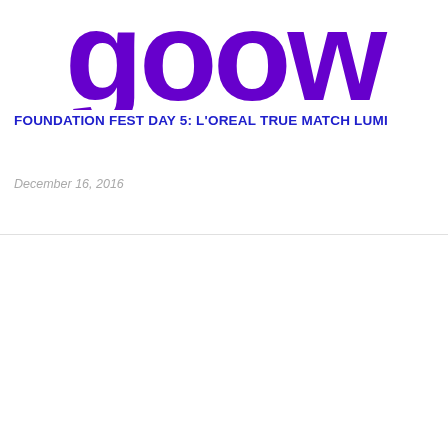[Figure (logo): Partial view of a purple bold logo text reading 'goow' or similar, cropped at top]
FOUNDATION FEST DAY 5: L'OREAL TRUE MATCH LUMI
December 16, 2016
LEAVE A COMMENT